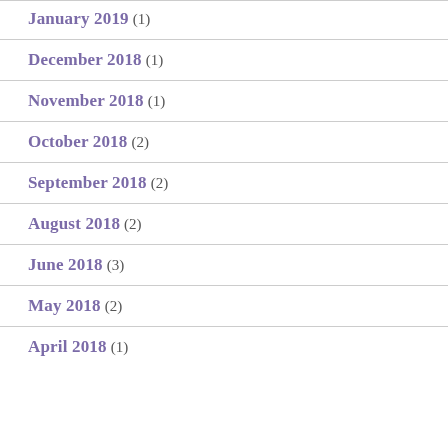January 2019 (1)
December 2018 (1)
November 2018 (1)
October 2018 (2)
September 2018 (2)
August 2018 (2)
June 2018 (3)
May 2018 (2)
April 2018 (1)